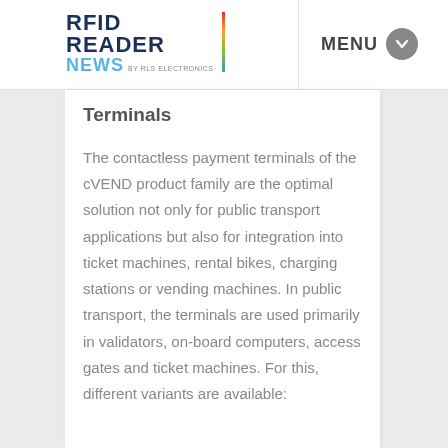RFID READER NEWS by RLS Electronics — MENU
Terminals
The contactless payment terminals of the cVEND product family are the optimal solution not only for public transport applications but also for integration into ticket machines, rental bikes, charging stations or vending machines. In public transport, the terminals are used primarily in validators, on-board computers, access gates and ticket machines. For this, different variants are available: